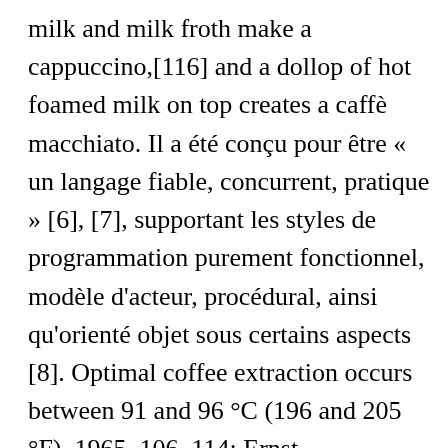milk and milk froth make a cappuccino,[116] and a dollop of hot foamed milk on top creates a caffè macchiato. Il a été conçu pour être « un langage fiable, concurrent, pratique » [6], [7], supportant les styles de programmation purement fonctionnel, modèle d'acteur, procédural, ainsi qu'orienté objet sous certains aspects [8]. Optimal coffee extraction occurs between 91 and 96 °C (196 and 205 °F). 1965, 106–114: Ernst Grabovszki, Innere Stadt, Wien, 1. The Frenchman Gabriel de Clieu took a coffee plant to the French territory of Martinique in the Caribbean in the 1720s,[31] from which much of the world's cultivated arabica coffee is descended. [17]